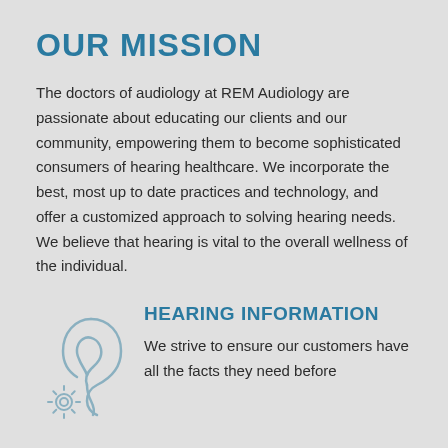OUR MISSION
The doctors of audiology at REM Audiology are passionate about educating our clients and our community, empowering them to become sophisticated consumers of hearing healthcare. We incorporate the best, most up to date practices and technology, and offer a customized approach to solving hearing needs. We believe that hearing is vital to the overall wellness of the individual.
[Figure (illustration): An icon of a human ear overlaid with a gear/cog, drawn in a light gray outline style, representing hearing healthcare technology.]
HEARING INFORMATION
We strive to ensure our customers have all the facts they need before